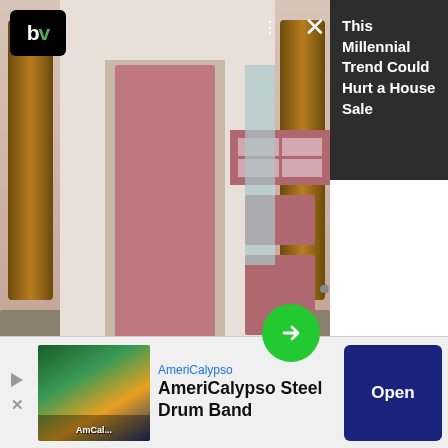[Figure (screenshot): Advertisement overlay showing a house with a pink front door. Top left shows 'bv' logo in black/green. Right side has dark panel with text 'This Millennial Trend Could Hurt a House Sale'. Green arrow button in center-right area.]
homeowners consider the toilet. That's a mistake for those with older toilets. Those water hogs account for up to 30% of a household's water usage and can inflate the monthly water bill. Dual-flush toilets cut down on water usage, but if you don't have plans to replace the toilet, a dual flush converter kit is the next best thing. These easy-to-install products replace a
[Figure (screenshot): Bottom advertisement banner for AmeriCalypso Steel Drum Band. Shows tropical image on left, advertiser name and title in center, blue 'Open' button on right.]
AmeriCalypso
AmeriCalypso Steel Drum Band
Open